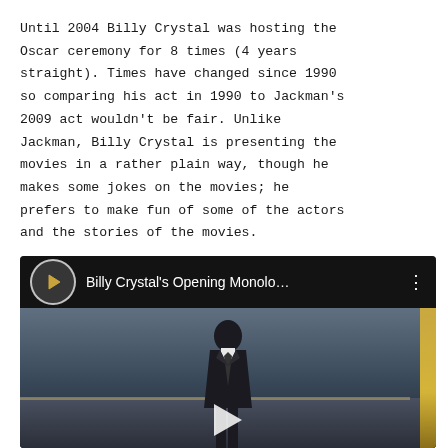Until 2004 Billy Crystal was hosting the Oscar ceremony for 8 times (4 years straight). Times have changed since 1990 so comparing his act in 1990 to Jackman's 2009 act wouldn't be fair. Unlike Jackman, Billy Crystal is presenting the movies in a rather plain way, though he makes some jokes on the movies; he prefers to make fun of some of the actors and the stories of the movies.
[Figure (screenshot): YouTube video thumbnail showing Billy Crystal's Opening Monologue with a person in a dark suit on stage]